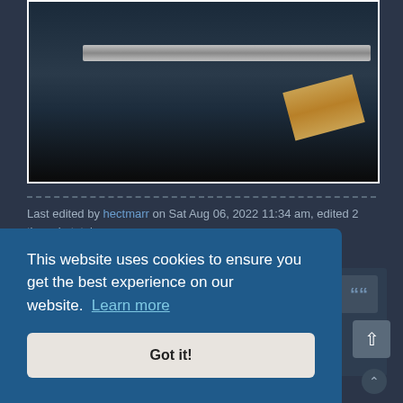[Figure (photo): Photo of a metal bar/rail and a wooden block on a dark surface, shown inside a white-bordered frame]
Last edited by hectmarr on Sat Aug 06, 2022 11:34 am, edited 2 times in total.
Moonbogg
Staff Sergeant 3
This website uses cookies to ensure you get the best experience on our website. Learn more
Got it!